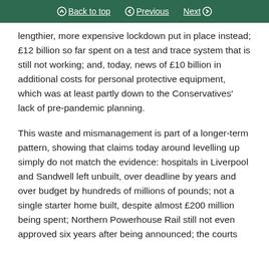Back to top | Previous | Next
lengthier, more expensive lockdown put in place instead; £12 billion so far spent on a test and trace system that is still not working; and, today, news of £10 billion in additional costs for personal protective equipment, which was at least partly down to the Conservatives' lack of pre-pandemic planning.
This waste and mismanagement is part of a longer-term pattern, showing that claims today around levelling up simply do not match the evidence: hospitals in Liverpool and Sandwell left unbuilt, over deadline by years and over budget by hundreds of millions of pounds; not a single starter home built, despite almost £200 million being spent; Northern Powerhouse Rail still not even approved six years after being announced; the courts